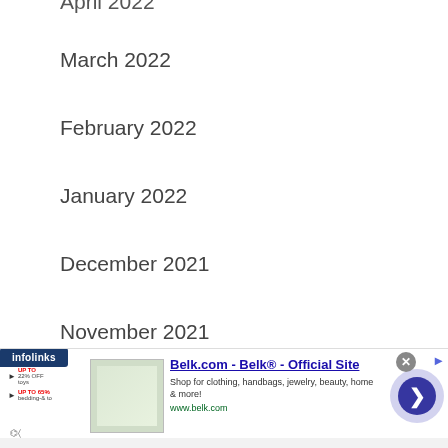April 2022
March 2022
February 2022
January 2022
December 2021
November 2021
October 2021
September 2021
August 2021
July 2021
[Figure (screenshot): Infolinks advertisement banner for Belk.com showing thumbnail image, ad title 'Belk.com - Belk® - Official Site', description 'Shop for clothing, handbags, jewelry, beauty, home & more!', URL 'www.belk.com', with close button and next arrow button]